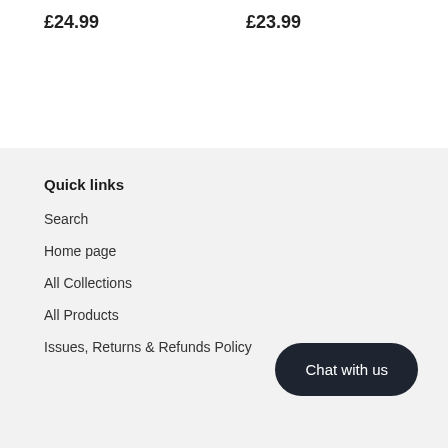£24.99
£23.99
Quick links
Search
Home page
All Collections
All Products
Issues, Returns & Refunds Policy
Chat with us